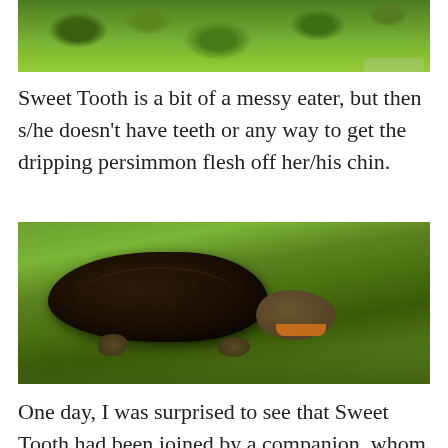[Figure (photo): Partial photo showing green grass background, cropped at top of page]
Sweet Tooth is a bit of a messy eater, but then s/he doesn't have teeth or any way to get the dripping persimmon flesh off her/his chin.
[Figure (photo): Photo of a turtle (Sweet Tooth) in green grass, with orange persimmon flesh visible on its chin/mouth area. The turtle has a dark brown/black shell and is viewed from the side.]
One day, I was surprised to see that Sweet Tooth had been joined by a companion, whom I called Swayback. I don't know if this turtle had been injured at some point to